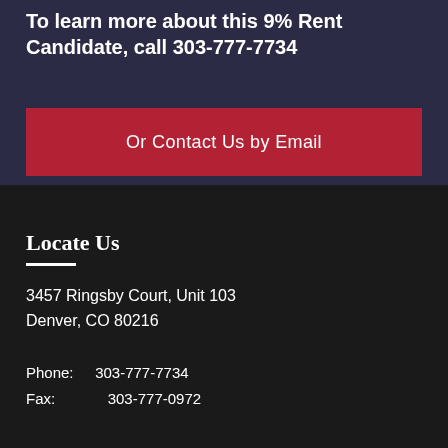To learn more about this 9% Rent Candidate, call 303-777-7734
Or Contact Us by Email
Locate Us
3457 Ringsby Court, Unit 103
Denver, CO 80216
Phone: 303-777-7734
Fax: 303-777-0972